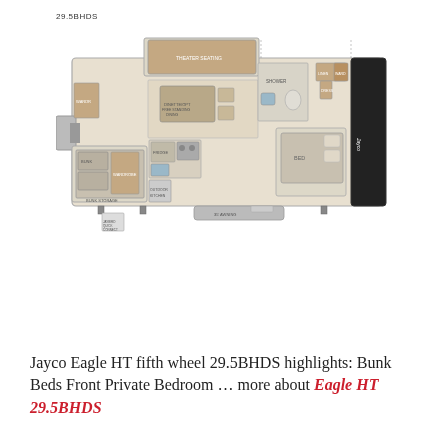29.5BHDS
[Figure (schematic): Floor plan of Jayco Eagle HT 29.5BHDS fifth wheel RV showing bunk beds, living area, kitchen, bathroom, and front bedroom layout viewed from above.]
360° TAKE A VIRTUAL TOUR
Jayco Eagle HT fifth wheel 29.5BHDS highlights: Bunk Beds Front Private Bedroom … more about Eagle HT 29.5BHDS